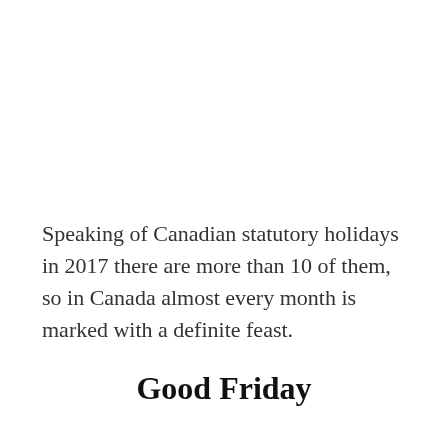Speaking of Canadian statutory holidays in 2017 there are more than 10 of them, so in Canada almost every month is marked with a definite feast.
Good Friday